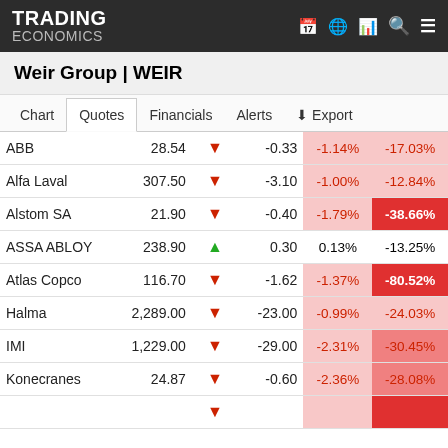TRADING ECONOMICS
Weir Group | WEIR
|  | Quote |  | Change | Day% | Year% |
| --- | --- | --- | --- | --- | --- |
| ABB | 28.54 | ▼ | -0.33 | -1.14% | -17.03% |
| Alfa Laval | 307.50 | ▼ | -3.10 | -1.00% | -12.84% |
| Alstom SA | 21.90 | ▼ | -0.40 | -1.79% | -38.66% |
| ASSA ABLOY | 238.90 | ▲ | 0.30 | 0.13% | -13.25% |
| Atlas Copco | 116.70 | ▼ | -1.62 | -1.37% | -80.52% |
| Halma | 2,289.00 | ▼ | -23.00 | -0.99% | -24.03% |
| IMI | 1,229.00 | ▼ | -29.00 | -2.31% | -30.45% |
| Konecranes | 24.87 | ▼ | -0.60 | -2.36% | -28.08% |